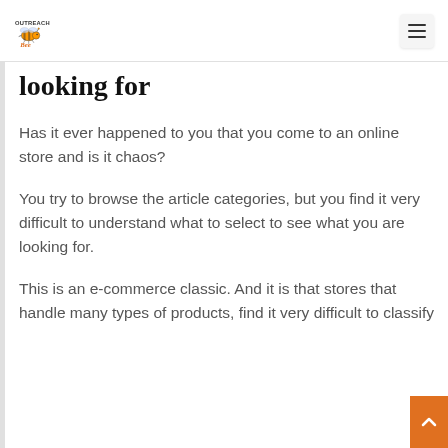Outreach Bee logo and navigation hamburger menu
looking for
Has it ever happened to you that you come to an online store and is it chaos?
You try to browse the article categories, but you find it very difficult to understand what to select to see what you are looking for.
This is an e-commerce classic. And it is that stores that handle many types of products, find it very difficult to classify